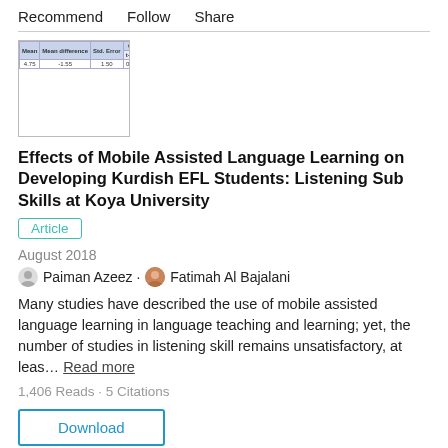Recommend   Follow   Share
[Figure (table-as-image): Thumbnail image of a statistical table with blue header cells and columns for Mean, Mean Difference, Std. Error, t-value, p-value, and Cohen's d]
Effects of Mobile Assisted Language Learning on Developing Kurdish EFL Students: Listening Sub Skills at Koya University
Article
August 2018
Paiman Azeez · Fatimah Al Bajalani
Many studies have described the use of mobile assisted language learning in language teaching and learning; yet, the number of studies in listening skill remains unsatisfactory, at leas… Read more
1,406 Reads · 5 Citations
Download
Recommend   Follow   Share
Trauma in August Wilson's The Piano Lesson